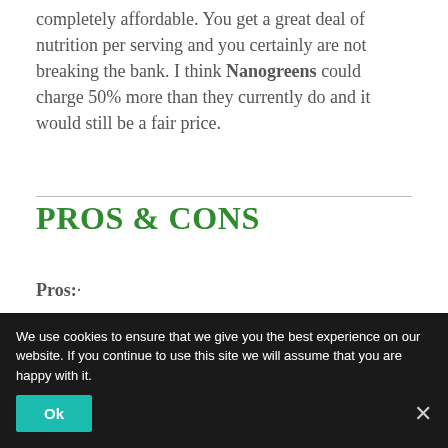completely affordable. You get a great deal of nutrition per serving and you certainly are not breaking the bank. I think Nanogreens could charge 50% more than they currently do and it would still be a fair price.
PROS & CONS
Pros:
A number of diverse, essential ingredients
The Barley grass comes from superior juice extract
Probiotics will save you money
Kerri Walsh Jennings is a rad volleyball player and she says she drinks it, so you know
We use cookies to ensure that we give you the best experience on our website. If you continue to use this site we will assume that you are happy with it.